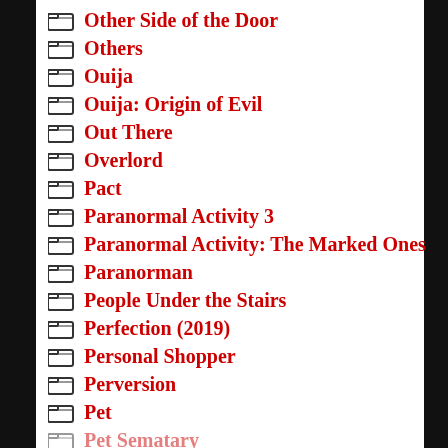Other Side of the Door
Others
Ouija
Ouija: Origin of Evil
Out There
Overlord
Pact
Paranormal Activity 3
Paranormal Activity: The Marked Ones
Paranorman
People Under the Stairs
Perfection (2019)
Personal Shopper
Perversion
Pet
Pet Sematary